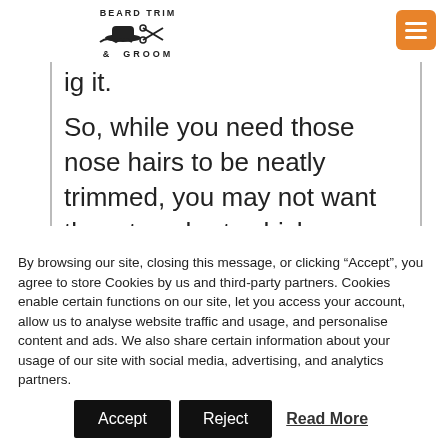[Figure (logo): Beard Trim & Groom logo with hat and scissors icon]
[Figure (other): Orange hamburger menu button in top right corner]
ig it.
So, while you need those nose hairs to be neatly trimmed, you may not want them too short, which
By browsing our site, closing this message, or clicking “Accept”, you agree to store Cookies by us and third-party partners. Cookies enable certain functions on our site, let you access your account, allow us to analyse website traffic and usage, and personalise content and ads. We also share certain information about your usage of our site with social media, advertising, and analytics partners.
Accept | Reject | Read More